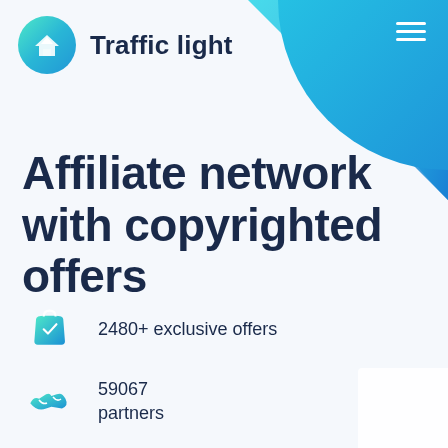[Figure (logo): Traffic Light logo: circular teal-to-blue gradient with white house/arrow icon, followed by bold text 'Traffic light']
Traffic light
Affiliate network with copyrighted offers
2480+ exclusive offers
59067 partners
Payouts made within 3 hours